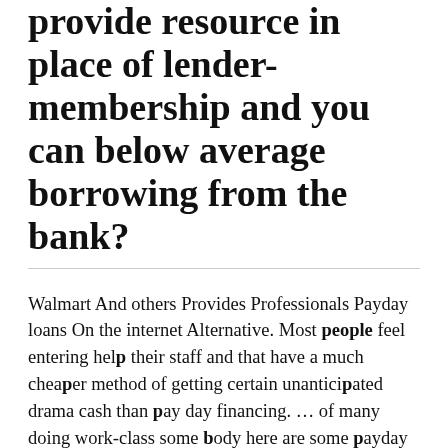provide resource in place of lender-membership and you can below average borrowing from the bank?
Walmart And others Provides Professionals Payday loans On the internet Alternative. Most people feel entering help their staff and that have a much cheaper method of getting certain unanticipated drama cash than pay day financing. … of many doing work-class some body here are some payday loans too due to the fact almost every other high priced ways to borrow funds.
When it comes to less than perfect credit funding that require collateral, one another preferred form of are usually term credit and you can pawn